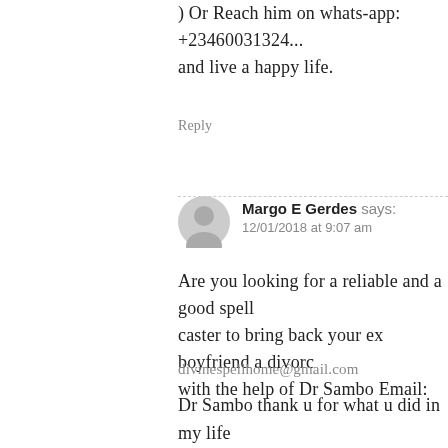) Or Reach him on whats-app: +23460031324... and live a happy life.
Reply
Margo E Gerdes says:
12/01/2018 at 9:07 am
Are you looking for a reliable and a good spell caster to bring back your ex boyfriend a divore with the help of Dr Sambo Email:
divinespellhome@gmail.com
Dr Sambo thank u for what u did in my life because I had lost hope after trying so many spell casters and no one was able to help me bring back my boyfriend because he had